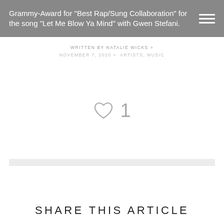Grammy-Award for "Best Rap/Sung Collaboration" for the song "Let Me Blow Ya Mind" with Gwen Stefani.
WRITTEN BY NATALIE WICKS » NOVEMBER 7, 2020 » ARTISTS, MUSIC
[Figure (illustration): A heart icon (like button) followed by the number 1, indicating 1 like.]
SHARE THIS ARTICLE